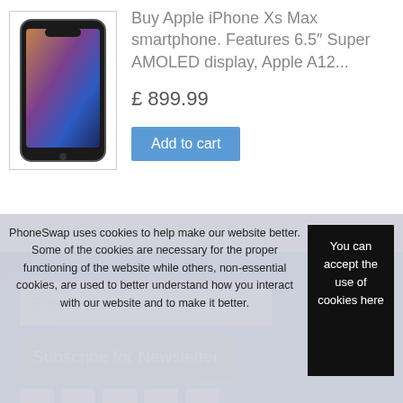[Figure (photo): Apple iPhone Xs Max smartphone product photo]
Buy Apple iPhone Xs Max smartphone. Features 6.5" Super AMOLED display, Apple A12...
£ 899.99
Add to cart
Enter your e-mail
Subscribe for Newsletter
PhoneSwap uses cookies to help make our website better. Some of the cookies are necessary for the proper functioning of the website while others, non-essential cookies, are used to better understand how you interact with our website and to make it better.
You can accept the use of cookies here